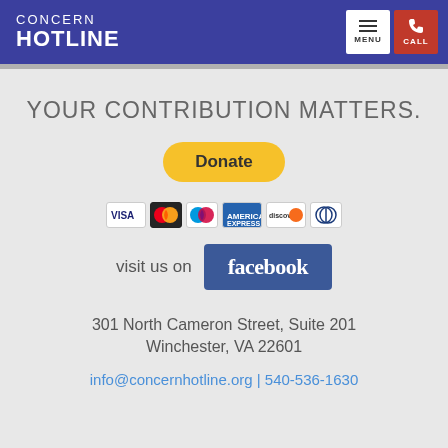CONCERN HOTLINE
YOUR CONTRIBUTION MATTERS.
[Figure (other): PayPal Donate button with payment card icons (Visa, Mastercard, Maestro, American Express, Discover, Diner's Club)]
[Figure (other): visit us on Facebook badge/logo]
301 North Cameron Street, Suite 201
Winchester, VA 22601
info@concernhotline.org | 540-536-1630